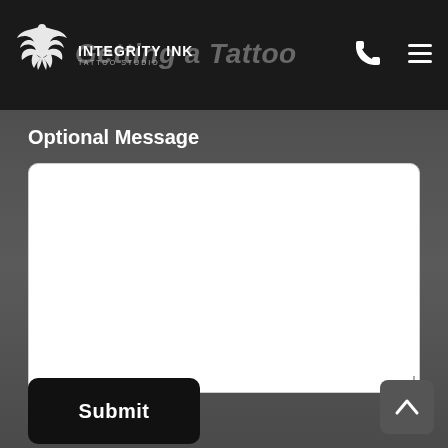Integrity Ink Tattoo Studio — Getting a Tattoo
Optional Message
[Figure (screenshot): White textarea input box for optional message]
Submit